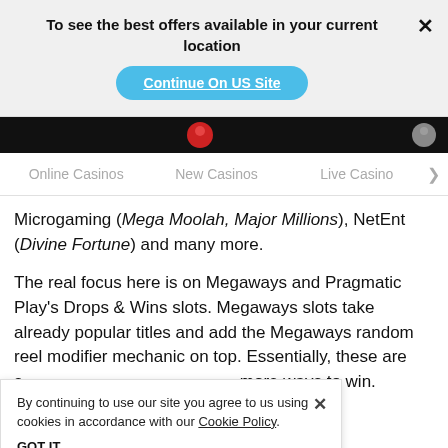To see the best offers available in your current location
Continue On US Site
Online Casinos   New Casinos   Live Casino   >
Microgaming (Mega Moolah, Major Millions), NetEnt (Divine Fortune) and many more.
The real focus here is on Megaways and Pragmatic Play's Drops & Wins slots. Megaways slots take already popular titles and add the Megaways random reel modifier mechanic on top. Essentially, these are slots with more ways to win. And these allow you to access in slots to win n game prize.
By continuing to use our site you agree to us using cookies in accordance with our Cookie Policy.
GOT IT